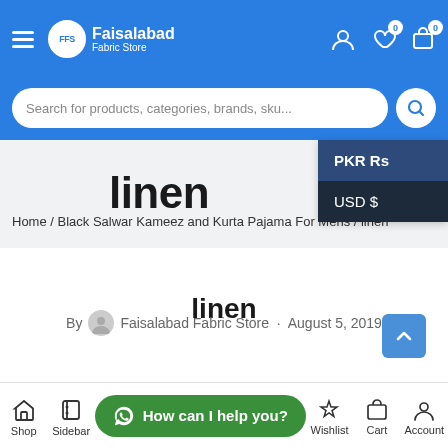Faisalabad Fabric Store — Navigation bar with logo, hamburger menu, user icon, wishlist (0), cart (0)
Search for products, categories, brands, sku...
PKR Rs
USD $
linen
Home / Black Salwar Kameez and Kurta Pajama For Mens / linen
linen
By Faisalabad Fabric Store · August 5, 2019
Shop  Sidebar  Wishlist  Cart  Account — How can I help you?